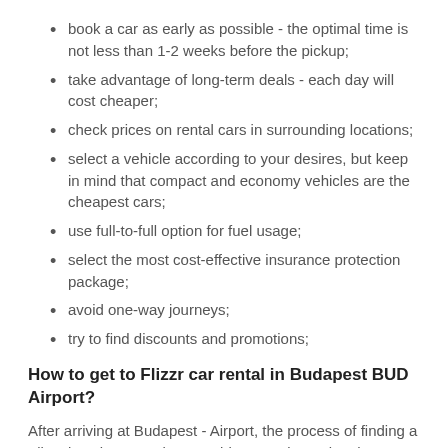book a car as early as possible - the optimal time is not less than 1-2 weeks before the pickup;
take advantage of long-term deals - each day will cost cheaper;
check prices on rental cars in surrounding locations;
select a vehicle according to your desires, but keep in mind that compact and economy vehicles are the cheapest cars;
use full-to-full option for fuel usage;
select the most cost-effective insurance protection package;
avoid one-way journeys;
try to find discounts and promotions;
How to get to Flizzr car rental in Budapest BUD Airport?
After arriving at Budapest - Airport, the process of finding a Flizzr location won't be very tiring. It's situated at the airport terminal. Its exact address is Liszt Ferenc Airport Term. 2B, Budapest, 1180. You will easily find the Flizzr rental desk by following the directions in the Budapest